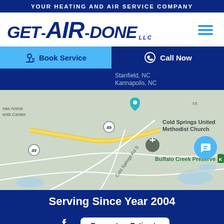YOUR HEATING AND AIR SERVICE COMPANY
[Figure (logo): Get-AIR-Done LLC logo in dark navy blue with hamburger menu icon]
Book Service
Call Now
Stanfield, NC
Kannapolis, NC
[Figure (map): Google Maps screenshot showing Cold Springs United Methodist Church area, Buffalo Creek Preserve, Cold Springs Rd S, roads 49, near Stanfield NC]
Serving Since Year 2004
Request an Estimate